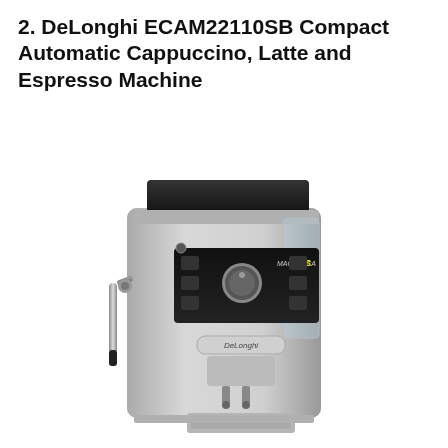2. DeLonghi ECAM22110SB Compact Automatic Cappuccino, Latte and Espresso Machine
[Figure (photo): DeLonghi ECAM22110SB Magnifica XS compact automatic espresso machine in silver/black finish, showing front panel with control buttons, rotary dial, steam wand on left side, dual spout dispenser, and bean hopper on top.]